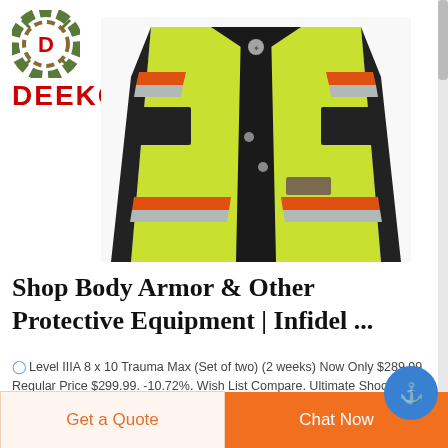[Figure (logo): Deekon logo: circular camouflage-pattern icon with red D letter, and red bold text DEEKON below]
[Figure (photo): High-visibility yellow-green safety vest with orange and silver reflective stripes, black trim, and velcro patches]
Shop Body Armor & Other Protective Equipment | Infidel ...
Level IIIA 8 x 10 Trauma Max (Set of two) (2 weeks) Now Only $289.99 Regular Price $299.99. -10.72%. Wish List Compare. Ultimate Shooter Kit Special w/Smo...
Get a Quote
Chat Now